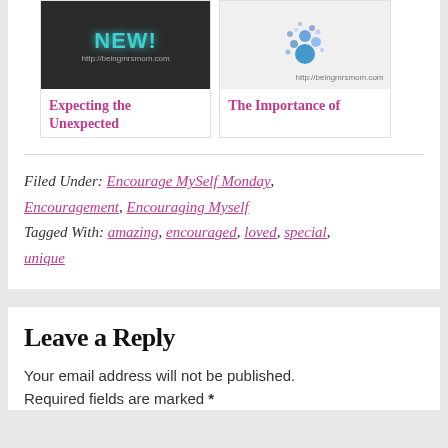[Figure (illustration): Dark background image with 'NEW!' text in teal color and URL http://beingmrsmom.com]
[Figure (illustration): Light grey background with blue bubble/molecule graphic and URL http://beingmrsmom.com]
Expecting the Unexpected
The Importance of
Filed Under: Encourage MySelf Monday, Encouragement, Encouraging Myself Tagged With: amazing, encouraged, loved, special, unique
Leave a Reply
Your email address will not be published. Required fields are marked *